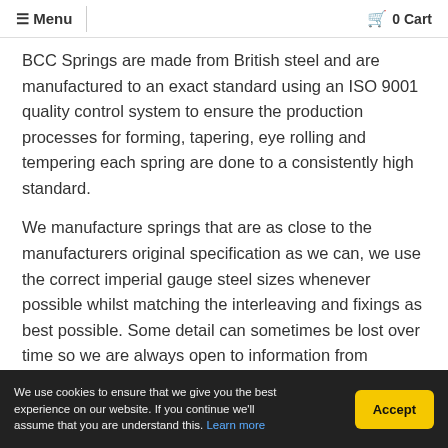≡ Menu   0 Cart
BCC Springs are made from British steel and are manufactured to an exact standard using an ISO 9001 quality control system to ensure the production processes for forming, tapering, eye rolling and tempering each spring are done to a consistently high standard.
We manufacture springs that are as close to the manufacturers original specification as we can, we use the correct imperial gauge steel sizes whenever possible whilst matching the interleaving and fixings as best possible. Some detail can sometimes be lost over time so we are always open to information from marque experts.
Please note that manufacturers sometimes altered the
We use cookies to ensure that we give you the best experience on our website. If you continue we'll assume that you are understand this. Learn more